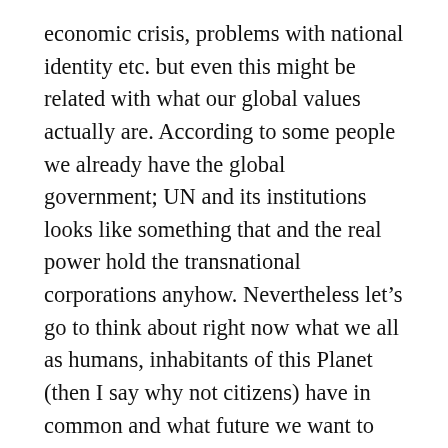economic crisis, problems with national identity etc. but even this might be related with what our global values actually are. According to some people we already have the global government; UN and its institutions looks like something that and the real power hold the transnational corporations anyhow. Nevertheless let’s go to think about right now what we all as humans, inhabitants of this Planet (then I say why not citizens) have in common and what future we want to create for our children.
What is the interest of all people of this Planet? (And now I come out from a paradigm that good is to look for the biggest good for most of